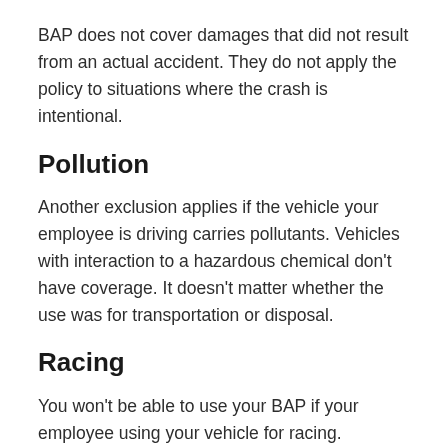BAP does not cover damages that did not result from an actual accident. They do not apply the policy to situations where the crash is intentional.
Pollution
Another exclusion applies if the vehicle your employee is driving carries pollutants. Vehicles with interaction to a hazardous chemical don't have coverage. It doesn't matter whether the use was for transportation or disposal.
Racing
You won't be able to use your BAP if your employee using your vehicle for racing. Demolition contests